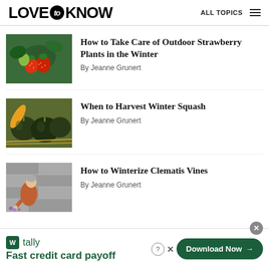LOVE to KNOW — ALL TOPICS
How to Take Care of Outdoor Strawberry Plants in the Winter
By Jeanne Grunert
When to Harvest Winter Squash
By Jeanne Grunert
How to Winterize Clematis Vines
By Jeanne Grunert
tally — Fast credit card payoff — Download Now